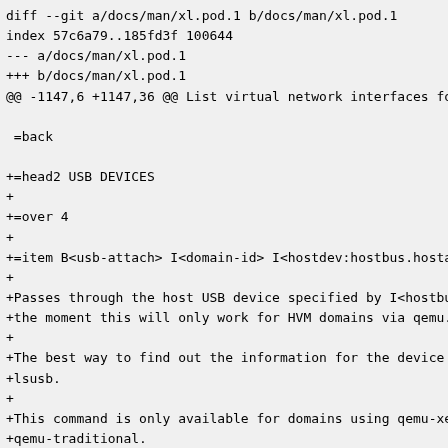diff --git a/docs/man/xl.pod.1 b/docs/man/xl.pod.1
index 57c6a79..185fd3f 100644
--- a/docs/man/xl.pod.1
+++ b/docs/man/xl.pod.1
@@ -1147,6 +1147,36 @@ List virtual network interfaces for a d

 =back

+=head2 USB DEVICES
+
+=over 4
+
+=item B<usb-attach> I<domain-id> I<hostdev:hostbus.hostaddr>
+
+Passes through the host USB device specified by I<hostbus.hos
+the moment this will only work for HVM domains via qemu.
+
+The best way to find out the information for the device is ty
+lsusb.
+
+This command is only available for domains using qemu-xen, no
+qemu-traditional.
+
+=item B<usb-detach> I<domain-id> I<hostdev:hosbus.hostaddr>
+